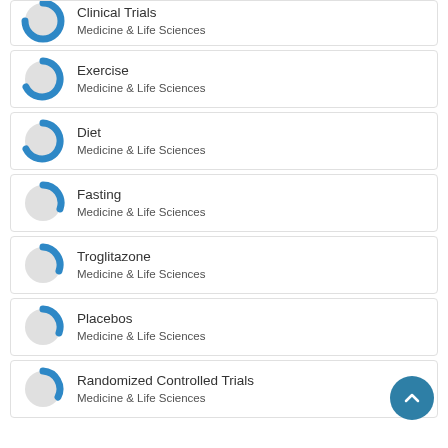Clinical Trials
Medicine & Life Sciences
Exercise
Medicine & Life Sciences
Diet
Medicine & Life Sciences
Fasting
Medicine & Life Sciences
Troglitazone
Medicine & Life Sciences
Placebos
Medicine & Life Sciences
Randomized Controlled Trials
Medicine & Life Sciences